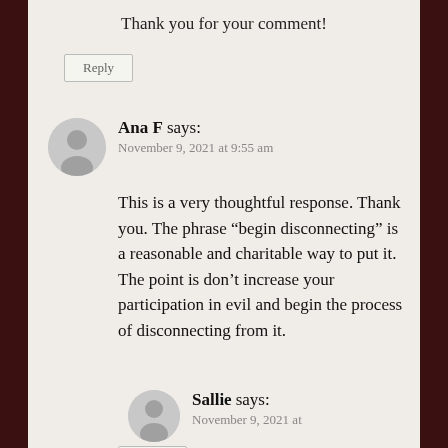Thank you for your comment!
Reply
Ana F says:
November 9, 2021 at 9:55 am
This is a very thoughtful response. Thank you. The phrase “begin disconnecting” is a reasonable and charitable way to put it. The point is don’t increase your participation in evil and begin the process of disconnecting from it.
Reply
Sallie says:
November 9, 2021 at